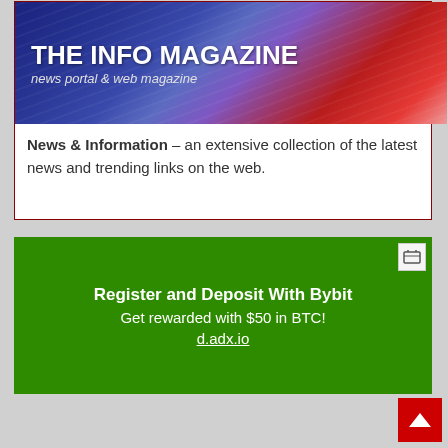[Figure (illustration): The Info Magazine banner with dark blue and red gradient background, showing bold white text 'THE INFO MAGAZINE' and subtitle 'news portal & web magazine']
News & Information – an extensive collection of the latest news and trending links on the web.
[Figure (infographic): Green advertisement banner for Bybit: 'Register and Deposit With Bybit', 'Get rewarded with $50 in BTC!', 'd.adx.io']